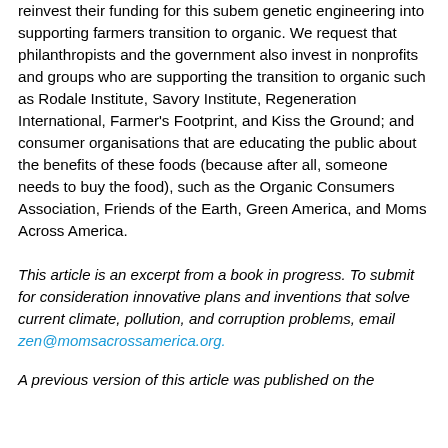reinvest their funding for this subem genetic engineering into supporting farmers transition to organic. We request that philanthropists and the government also invest in nonprofits and groups who are supporting the transition to organic such as Rodale Institute, Savory Institute, Regeneration International, Farmer's Footprint, and Kiss the Ground; and consumer organisations that are educating the public about the benefits of these foods (because after all, someone needs to buy the food), such as the Organic Consumers Association, Friends of the Earth, Green America, and Moms Across America.
This article is an excerpt from a book in progress. To submit for consideration innovative plans and inventions that solve current climate, pollution, and corruption problems, email zen@momsacrossamerica.org.
A previous version of this article was published on the